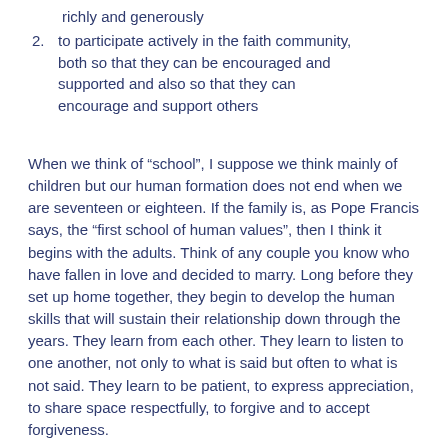lives will help them to live their relationship richly and generously
2. to participate actively in the faith community, both so that they can be encouraged and supported and also so that they can encourage and support others
When we think of “school”, I suppose we think mainly of children but our human formation does not end when we are seventeen or eighteen. If the family is, as Pope Francis says, the “first school of human values”, then I think it begins with the adults. Think of any couple you know who have fallen in love and decided to marry. Long before they set up home together, they begin to develop the human skills that will sustain their relationship down through the years. They learn from each other. They learn to listen to one another, not only to what is said but often to what is not said. They learn to be patient, to express appreciation, to share space respectfully, to forgive and to accept forgiveness.